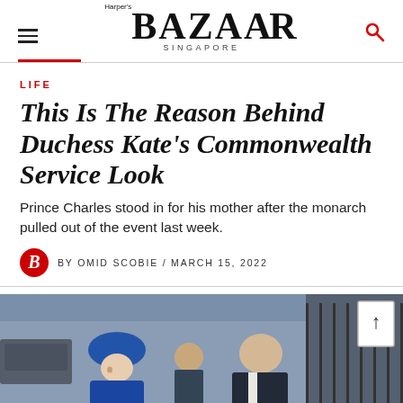Harper's BAZAAR SINGAPORE
LIFE
This Is The Reason Behind Duchess Kate's Commonwealth Service Look
Prince Charles stood in for his mother after the monarch pulled out of the event last week.
BY OMID SCOBIE / MARCH 15, 2022
[Figure (photo): Photo of Duchess Kate and Prince William at the Commonwealth Service, Kate wearing a blue hat and blue coat, William in a dark suit]